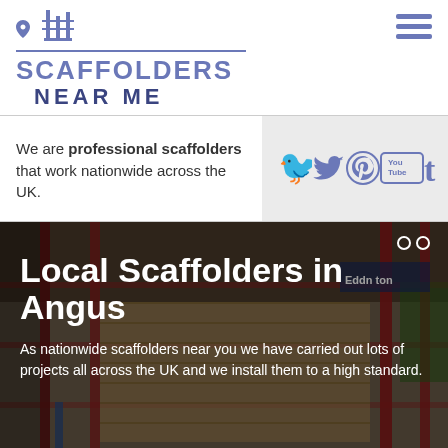[Figure (logo): Scaffolders Near Me logo with pin icon, building icon, horizontal line, and blue text reading SCAFFOLDERS NEAR ME]
[Figure (other): Hamburger menu icon (three horizontal blue lines) in top right corner]
We are professional scaffolders that work nationwide across the UK.
[Figure (other): Social media icons: Twitter bird, Pinterest P, YouTube, Tumblr t — all in blue on grey background]
Local Scaffolders in Angus
As nationwide scaffolders near you we have carried out lots of projects all across the UK and we install them to a high standard.
[Figure (photo): Background photo of scaffolding structure with red poles and wooden planks inside a construction site]